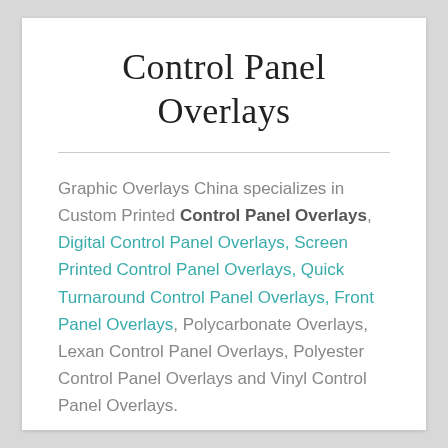Control Panel Overlays
Graphic Overlays China specializes in Custom Printed Control Panel Overlays, Digital Control Panel Overlays, Screen Printed Control Panel Overlays, Quick Turnaround Control Panel Overlays, Front Panel Overlays, Polycarbonate Overlays, Lexan Control Panel Overlays, Polyester Control Panel Overlays and Vinyl Control Panel Overlays.